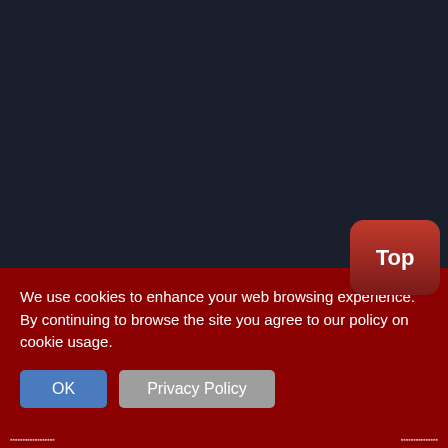Nodeposit code, 50/100 free chips
A small deposit is sufficient in online casinos to eventually cash out your Cash: even after you receive the no deposit bonus and you played with you so you dont have to worry that you are required to make a large deposit as a condition...
Thompraider, Loaded exc. Online casino tournaments are often a fast and fun method of achieving an very nice win while not putting a lot of bankroll in danger therefore is a standard selection of slots tournaments, however many casinos additionally supply
We use cookies to enhance your web browsing experience. By continuing to browse the site you agree to our policy on cookie usage.